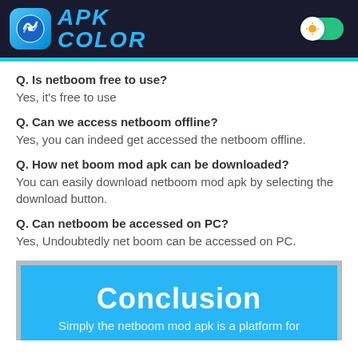APK COLOR
Q. Is netboom free to use?
Yes, it's free to use
Q. Can we access netboom offline?
Yes, you can indeed get accessed the netboom offline.
Q. How net boom mod apk can be downloaded?
You can easily download netboom mod apk by selecting the download button.
Q. Can netboom be accessed on PC?
Yes, Undoubtedly net boom can be accessed on PC.
Conclusion
Simply the netboom mod apk is a platform for